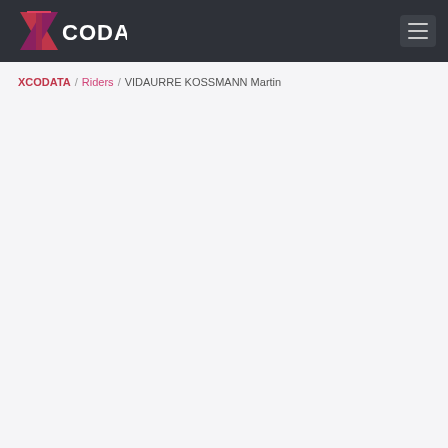XCODATA — navigation header with logo and hamburger menu
XCODATA / Riders / VIDAURRE KOSSMANN Martin